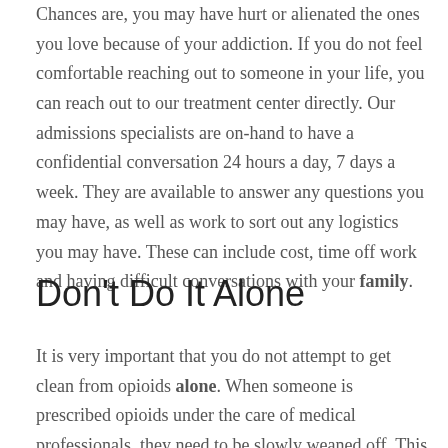Chances are, you may have hurt or alienated the ones you love because of your addiction. If you do not feel comfortable reaching out to someone in your life, you can reach out to our treatment center directly. Our admissions specialists are on-hand to have a confidential conversation 24 hours a day, 7 days a week. They are available to answer any questions you may have, as well as work to sort out any logistics you may have. These can include cost, time off work and having difficult conversations with your family.
Don't Do It Alone
It is very important that you do not attempt to get clean from opioids alone. When someone is prescribed opioids under the care of medical professionals, they need to be slowly weaned off. This happens even if they do not